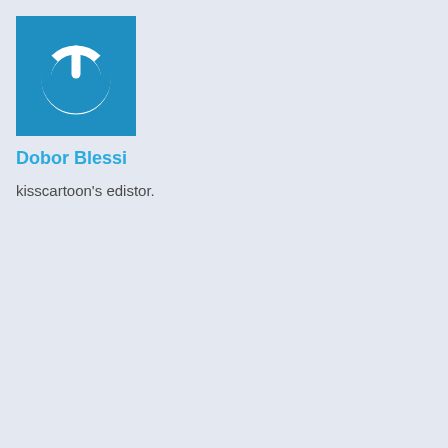[Figure (logo): Blue square logo with white power button icon]
Dobor Blessi
kisscartoon's edistor.